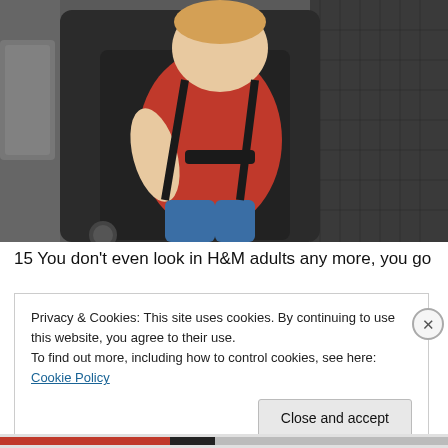[Figure (photo): A young child with blonde hair wearing a red t-shirt seated in a black child car seat with harness straps, photographed inside a car with a dark leather seat visible to the right.]
15 You don't even look in H&M adults any more, you go
Privacy & Cookies: This site uses cookies. By continuing to use this website, you agree to their use.
To find out more, including how to control cookies, see here: Cookie Policy